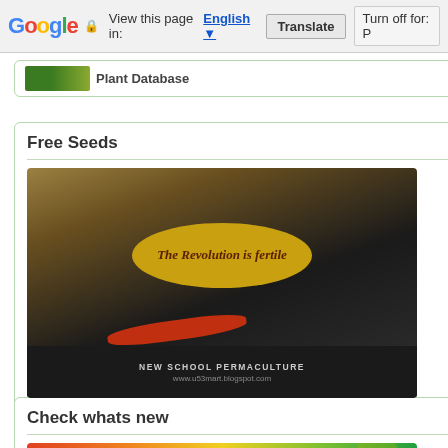Google — View this page in: English [▼] Translate Turn off for: P
[Figure (screenshot): Plant Database widget banner with logo]
Free Seeds
[Figure (photo): New School Permaculture seed packet image with worm, oval label reading 'The Revolution is fertile']
Check whats new
[Figure (photo): Colorful tropical fruits arrangement including pineapple, watermelon, bananas]
politica (1) Politica / Politics (12) Pow Wow (2) Principios / Princ Quechua (1) Raised beds (2) recicl Revolução (1) Revolução / Revolu vitamin (1) saldanha (1) schools (2) (9) Sepp Holzer (6) sexy (1) Sintra africa (2) south america (4) spiritu development (3) Sustentabilidade ( temperado (1) The true history (1) tip (1) Trangénicos / Trangenic (4) Tr truques (1) Turkey (3) TV (4) U.S. Vandana Shiva (2) Vermicompos Permaculture? (1) wild (1) Woman (1)
Specifics
Permaculture